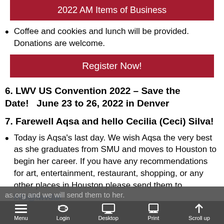2022 AM Items of Business
Coffee and cookies and lunch will be provided. Donations are welcome.
Register Now!
6. LWV US Convention 2022 – Save the Date!   June 23 to 26, 2022 in Denver
7. Farewell Aqsa and hello Cecilia (Ceci) Silva!
Today is Aqsa's last day. We wish Aqsa the very best as she graduates from SMU and moves to Houston to begin her career. If you have any recommendations for art, entertainment, restaurant, shopping, or any other places in Houston please send them to info@lwvdallas.org and we will send them to her.